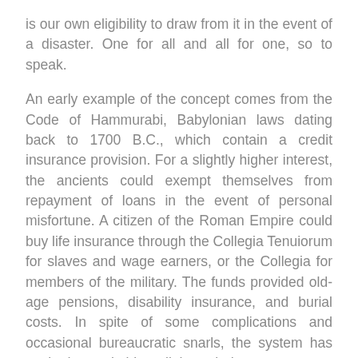is our own eligibility to draw from it in the event of a disaster. One for all and all for one, so to speak.
An early example of the concept comes from the Code of Hammurabi, Babylonian laws dating back to 1700 B.C., which contain a credit insurance provision. For a slightly higher interest, the ancients could exempt themselves from repayment of loans in the event of personal misfortune. A citizen of the Roman Empire could buy life insurance through the Collegia Tenuiorum for slaves and wage earners, or the Collegia for members of the military. The funds provided old-age pensions, disability insurance, and burial costs. In spite of some complications and occasional bureaucratic snarls, the system has worked remarkably well through the ages.
Today, virtually all heads of families should carry life insurance. Most financial professionals also recommend automobile, health, homeowners, personal